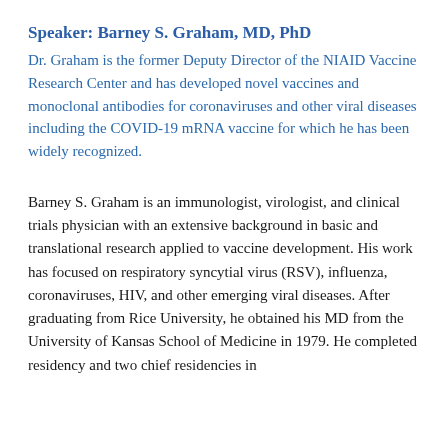Speaker: Barney S. Graham, MD, PhD
Dr. Graham is the former Deputy Director of the NIAID Vaccine Research Center and has developed novel vaccines and monoclonal antibodies for coronaviruses and other viral diseases including the COVID-19 mRNA vaccine for which he has been widely recognized.
Barney S. Graham is an immunologist, virologist, and clinical trials physician with an extensive background in basic and translational research applied to vaccine development. His work has focused on respiratory syncytial virus (RSV), influenza, coronaviruses, HIV, and other emerging viral diseases. After graduating from Rice University, he obtained his MD from the University of Kansas School of Medicine in 1979. He completed residency and two chief residencies in